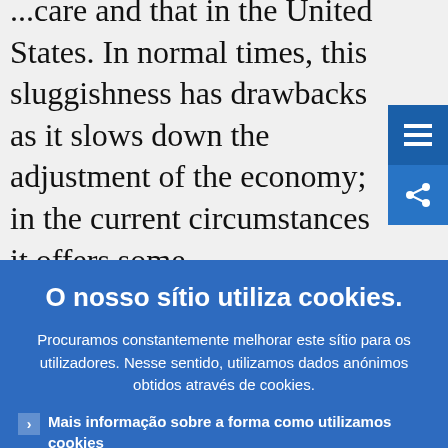...care and that in the United States. In normal times, this sluggishness has drawbacks as it slows down the adjustment of the economy; in the current circumstances it offers some
O nosso sítio utiliza cookies.
Procuramos constantemente melhorar este sítio para os utilizadores. Nesse sentido, utilizamos dados anónimos obtidos através de cookies.
Mais informação sobre a forma como utilizamos cookies
Compreendo e aceito a utilização de cookies
Não aceito a utilização de cookies